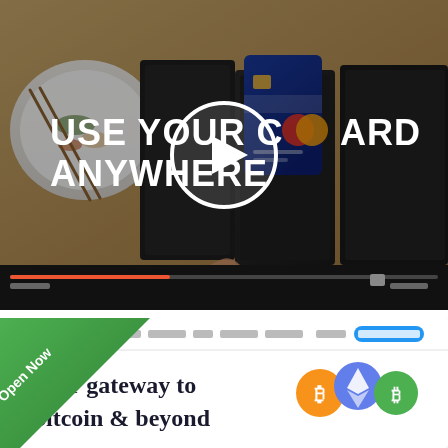[Figure (screenshot): Video thumbnail showing a black leather wallet with a blue Mastercard credit card, shot from above over a dining table with sushi. A white play button circle overlay is in the center. Bold white text reads 'USE YOUR CARD ANYWHERE'. Below the image is a black video controls bar.]
[Figure (screenshot): Screenshot of a cryptocurrency website with a green diagonal banner in the top-left corner reading 'Open Now'. The site shows navigation links: Get Started, Wallet, Buy & Sell, News, Exchange, Company, Sign In, Create Account. Main heading reads 'Your gateway to Bitcoin & beyond'. Cryptocurrency coin icons (Bitcoin orange, Ethereum blue, Bitcoin green) float on the right side.]